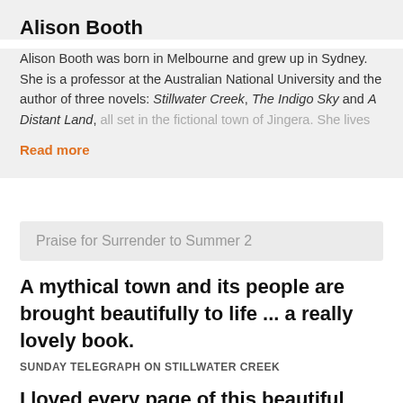Alison Booth
Alison Booth was born in Melbourne and grew up in Sydney. She is a professor at the Australian National University and the author of three novels: Stillwater Creek, The Indigo Sky and A Distant Land, all set in the fictional town of Jingera. She lives
Read more
Praise for Surrender to Summer 2
A mythical town and its people are brought beautifully to life ... a really lovely book.
SUNDAY TELEGRAPH ON STILLWATER CREEK
I loved every page of this beautiful book